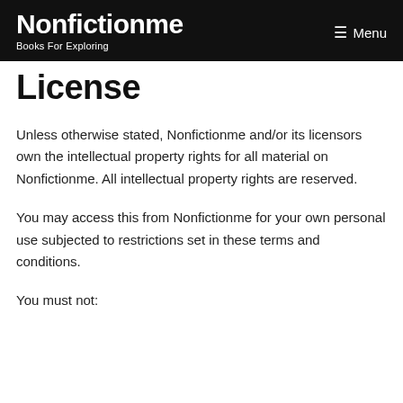Nonfictionme | Books For Exploring | Menu
License
Unless otherwise stated, Nonfictionme and/or its licensors own the intellectual property rights for all material on Nonfictionme. All intellectual property rights are reserved.
You may access this from Nonfictionme for your own personal use subjected to restrictions set in these terms and conditions.
You must not: